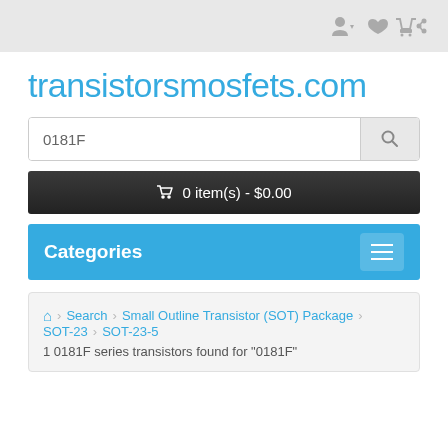[icons: user, heart, cart, share]
transistorsmosfets.com
0181F [search bar]
0 item(s) - $0.00
Categories
Home > Search > Small Outline Transistor (SOT) Package > SOT-23 > SOT-23-5 > 1 0181F series transistors found for "0181F"